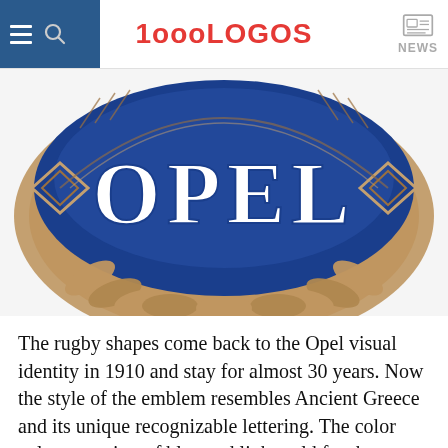1000LOGOS NEWS
[Figure (logo): Opel vintage logo — a rugby/eye-shaped emblem with blue background, white OPEL lettering in classical style, decorative geometric diamond shapes at left and right, and laurel leaf wreath framing the bottom in light gold/bronze tones. Only the upper portion of the logo is visible.]
The rugby shapes come back to the Opel visual identity in 1910 and stay for almost 30 years. Now the style of the emblem resembles Ancient Greece and its unique recognizable lettering. The color palette consists of blue and light gold for the medallion and white for the inscription. The framing features laurel leaves pattern.